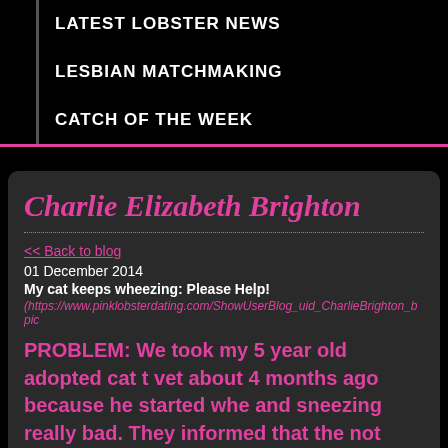LATEST LOBSTER NEWS
LESBIAN MATCHMAKING
CATCH OF THE WEEK
Charlie Elizabeth Brighton
<< Back to blog
01 December 2014
My cat keeps wheezing: Please Help!
(https://www.pinklobsterdating.com/ShowUserBlog_uid_CharlieBrighton_bpic
PROBLEM: We took my 5 year old adopted cat t vet about 4 months ago because he started whe and sneezing really bad. They informed that the not sure what is wrong with him but provided a prescription of Lysine Treats. They didn't help n His breathing gets bad on and off. Sometimes h